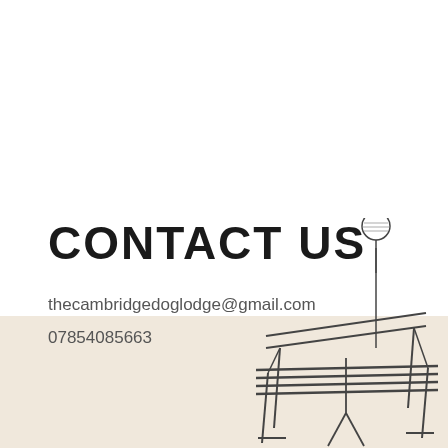CONTACT US
thecambridgedoglodge@gmail.com
07854085663
[Figure (illustration): Line drawing of a park bench with a street lamp/balloon on a pole, partially overlapping a beige band at the bottom of the page.]